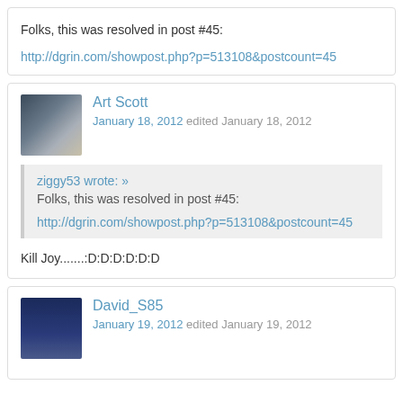Folks, this was resolved in post #45:
http://dgrin.com/showpost.php?p=513108&postcount=45
Art Scott
January 18, 2012 edited January 18, 2012
ziggy53 wrote: »
Folks, this was resolved in post #45:

http://dgrin.com/showpost.php?p=513108&postcount=45
Kill Joy.......:D:D:D:D:D:D
David_S85
January 19, 2012 edited January 19, 2012